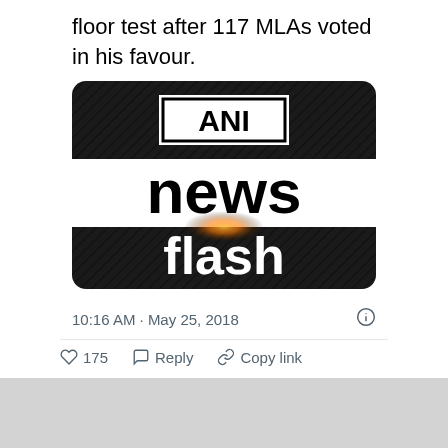floor test after 117 MLAs voted in his favour.
[Figure (screenshot): ANI News Flash logo image — black background with diagonal texture. Top section: white rectangle with bold black text 'ANI'. Middle white band: large bold black text 'news'. Bottom black band: large bold white text 'flash' with a small orange/golden light flare in the center background.]
10:16 AM · May 25, 2018
175   Reply   Copy link